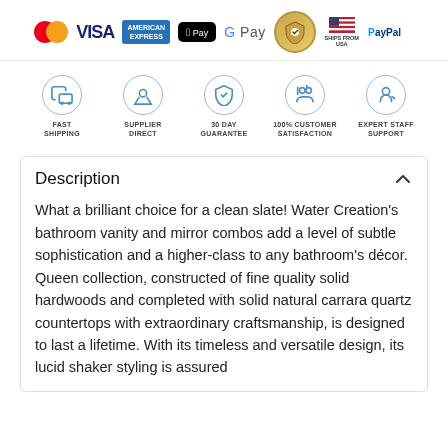[Figure (infographic): Payment method logos: Mastercard, Visa, American Express, Apple Pay, Google Pay, Guaranteed badge, Ships from USA, PayPal]
[Figure (infographic): Trust badges: Fast Shipping, Supplier Direct, 30 Day Guarantee, 100% Customer Satisfaction, Expert Staff Support]
Description
What a brilliant choice for a clean slate! Water Creation's bathroom vanity and mirror combos add a level of subtle sophistication and a higher-class to any bathroom's décor. Queen collection, constructed of fine quality solid hardwoods and completed with solid natural carrara quartz countertops with extraordinary craftsmanship, is designed to last a lifetime. With its timeless and versatile design, its lucid shaker styling is assured